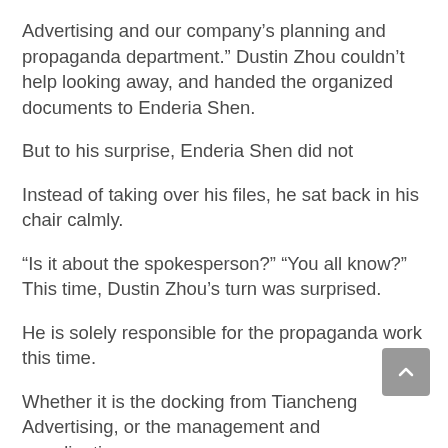Advertising and our company’s planning and propaganda department.” Dustin Zhou couldn’t help looking away, and handed the organized documents to Enderia Shen.
But to his surprise, Enderia Shen did not
Instead of taking over his files, he sat back in his chair calmly.
“Is it about the spokesperson?” “You all know?” This time, Dustin Zhou’s turn was surprised.
He is solely responsible for the propaganda work this time.
Whether it is the docking from Tiancheng Advertising, or the management and coordination